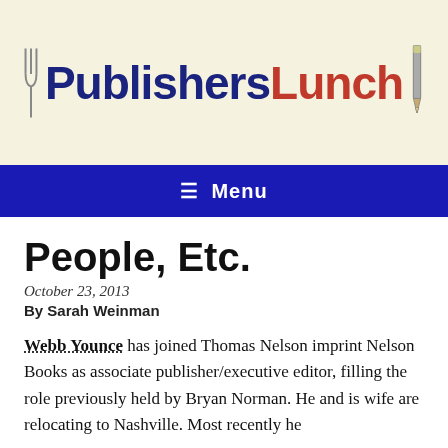[Figure (logo): PublishersLunch logo with fork on left and pencil on right, 'Publishers' in dark blue bold and 'Lunch' in red bold]
≡  Menu
People, Etc.
October 23, 2013
By Sarah Weinman
Webb Younce has joined Thomas Nelson imprint Nelson Books as associate publisher/executive editor, filling the role previously held by Bryan Norman. He and is wife are relocating to Nashville. Most recently he